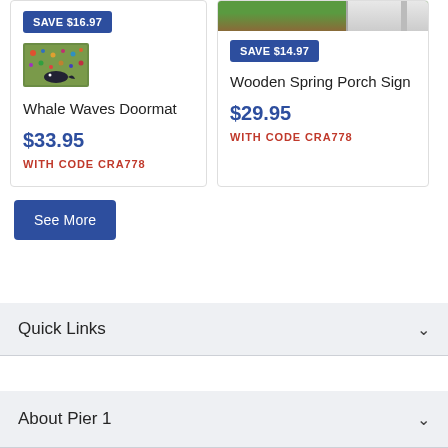[Figure (photo): Whale Waves Doormat product thumbnail — small colorful rug with whale motif]
SAVE $16.97
Whale Waves Doormat
$33.95
WITH CODE CRA778
[Figure (photo): Wooden Spring Porch Sign product — outdoor porch scene with green foliage and white door]
SAVE $14.97
Wooden Spring Porch Sign
$29.95
WITH CODE CRA778
See More
Quick Links
About Pier 1